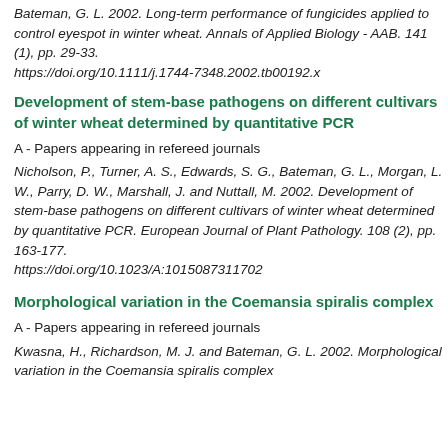Bateman, G. L. 2002. Long-term performance of fungicides applied to control eyespot in winter wheat. Annals of Applied Biology - AAB. 141 (1), pp. 29-33. https://doi.org/10.1111/j.1744-7348.2002.tb00192.x
Development of stem-base pathogens on different cultivars of winter wheat determined by quantitative PCR
A - Papers appearing in refereed journals
Nicholson, P., Turner, A. S., Edwards, S. G., Bateman, G. L., Morgan, L. W., Parry, D. W., Marshall, J. and Nuttall, M. 2002. Development of stem-base pathogens on different cultivars of winter wheat determined by quantitative PCR. European Journal of Plant Pathology. 108 (2), pp. 163-177. https://doi.org/10.1023/A:1015087311702
Morphological variation in the Coemansia spiralis complex
A - Papers appearing in refereed journals
Kwasna, H., Richardson, M. J. and Bateman, G. L. 2002. Morphological variation in the Coemansia spiralis complex